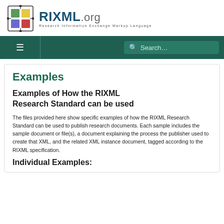[Figure (logo): RIXML.org logo with colored grid icon and text 'RIXML.org Research Information Exchange Markup Language']
Examples
Examples of How the RIXML Research Standard can be used
The files provided here show specific examples of how the RIXML Research Standard can be used to publish research documents. Each sample includes the sample document or file(s), a document explaining the process the publisher used to create that XML, and the related XML instance document, tagged according to the RIXML specification.
Individual Examples: